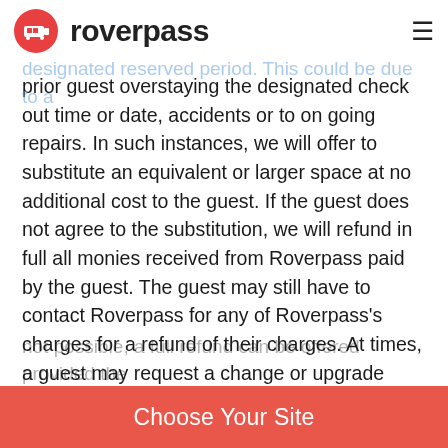roverpass
guest. Occasionally, due to factors beyond our control, a space may not be available for the designated reserved period. This could be due to a prior guest overstaying the designated check out time or date, accidents or to on going repairs. In such instances, we will offer to substitute an equivalent or larger space at no additional cost to the guest. If the guest does not agree to the substitution, we will refund in full all monies received from Roverpass paid by the guest. The guest may still have to contact Roverpass for any of Roverpass's charges for a refund of their charges. At times, a guest may request a change or upgrade from their existing space or reservation, perhaps, because the guest chose the wrong lot or space size for their trailer setup. We will be happy to accommodate such requests provided the desired space is available. The difference in price
not possible, a full refund can be offered provided the